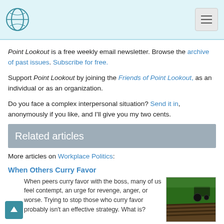Point Lookout newsletter site header
Point Lookout is a free weekly email newsletter. Browse the archive of past issues. Subscribe for free.
Support Point Lookout by joining the Friends of Point Lookout, as an individual or as an organization.
Do you face a complex interpersonal situation? Send it in, anonymously if you like, and I'll give you my two cents.
Related articles
More articles on Workplace Politics:
When Others Curry Favor
When peers curry favor with the boss, many of us feel contempt, an urge for revenge, anger, or worse. Trying to stop those who curry favor probably isn't an effective strategy. What is?
[Figure (photo): Aerial view of farm field with tractor]
How Pet Projects Get Resources: Abuse
Pet projects thrive in many
[Figure (photo): Close-up of plants with small flowers in a field]